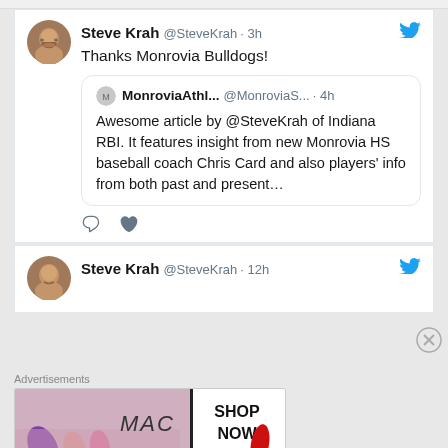Steve Krah @SteveKrah · 3h — Thanks Monrovia Bulldogs!
MonroviaAthl... @MonroviaS... · 4h — Awesome article by @SteveKrah of Indiana RBI.  It features insight from new Monrovia HS baseball coach Chris Card and also players' info from both past and present…
Steve Krah @SteveKrah · 12h
Advertisements
[Figure (screenshot): MAC cosmetics advertisement showing lipsticks with SHOP NOW text]